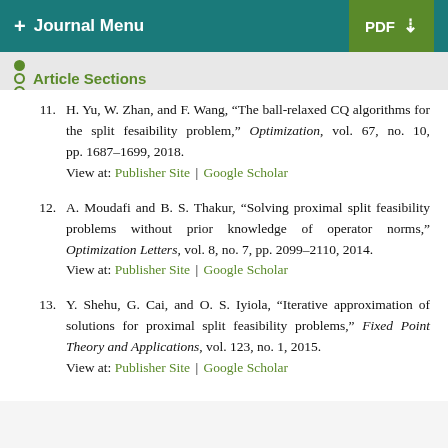+ Journal Menu | PDF ↓
Article Sections
11. H. Yu, W. Zhan, and F. Wang, "The ball-relaxed CQ algorithms for the split fesaibility problem," Optimization, vol. 67, no. 10, pp. 1687–1699, 2018. View at: Publisher Site | Google Scholar
12. A. Moudafi and B. S. Thakur, "Solving proximal split feasibility problems without prior knowledge of operator norms," Optimization Letters, vol. 8, no. 7, pp. 2099–2110, 2014. View at: Publisher Site | Google Scholar
13. Y. Shehu, G. Cai, and O. S. Iyiola, "Iterative approximation of solutions for proximal split feasibility problems," Fixed Point Theory and Applications, vol. 123, no. 1, 2015. View at: Publisher Site | Google Scholar